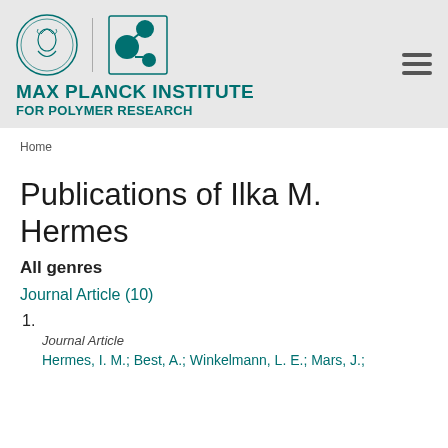[Figure (logo): Max Planck Institute for Polymer Research logo with Minerva head medallion and molecular structure graphic]
MAX PLANCK INSTITUTE FOR POLYMER RESEARCH
Home
Publications of Ilka M. Hermes
All genres
Journal Article (10)
1.
Journal Article
Hermes, I. M.; Best, A.; Winkelmann, L. E.; Mars, J.;